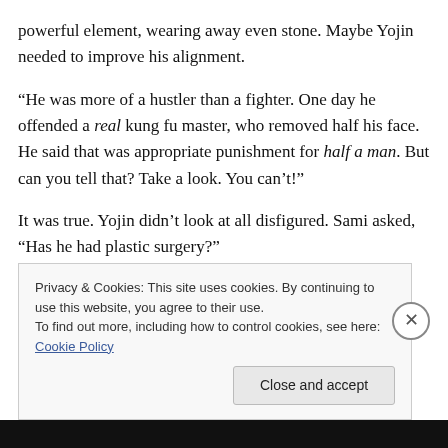powerful element, wearing away even stone. Maybe Yojin needed to improve his alignment.
“He was more of a hustler than a fighter. One day he offended a real kung fu master, who removed half his face. He said that was appropriate punishment for half a man. But can you tell that? Take a look. You can’t!”
It was true. Yojin didn’t look at all disfigured. Sami asked, “Has he had plastic surgery?”
Alfred looked very pleased, and said, “Yojin!”
Privacy & Cookies: This site uses cookies. By continuing to use this website, you agree to their use.
To find out more, including how to control cookies, see here: Cookie Policy
Close and accept